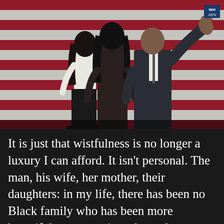[Figure (photo): Three people viewed from behind standing in front of a large American flag with red and white stripes. A man in a dark suit on the right has his arm raised waving. Two women stand beside him. A WH.GOV watermark badge appears in the top right corner.]
It is just that wistfulness is no longer a luxury I can afford. It isn't personal. The man, his wife, her mother, their daughters: in my life, there has been no Black family who has been more beautiful more consistently, under an eight-year glare of a chronically dissatisfied public. In my